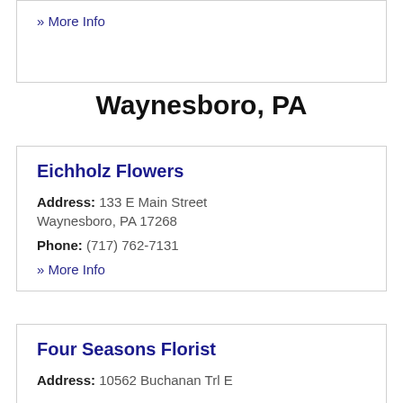» More Info
Waynesboro, PA
Eichholz Flowers
Address: 133 E Main Street
Waynesboro, PA 17268
Phone: (717) 762-7131
» More Info
Four Seasons Florist
Address: 10562 Buchanan Trl E